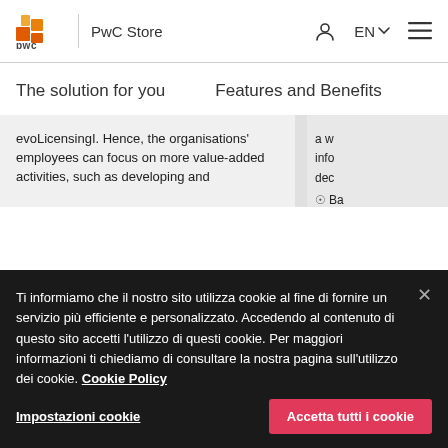PwC Store | EN
The solution for you
Features and Benefits
evoLicensingI. Hence, the organisations' employees can focus on more value-added activities, such as developing and
Ti informiamo che il nostro sito utilizza cookie al fine di fornire un servizio più efficiente e personalizzato. Accedendo al contenuto di questo sito accetti l'utilizzo di questi cookie. Per maggiori informazioni ti chiediamo di consultare la nostra pagina sull'utilizzo dei cookie. Cookie Policy
Impostazioni cookie
Accetta tutti i cookie